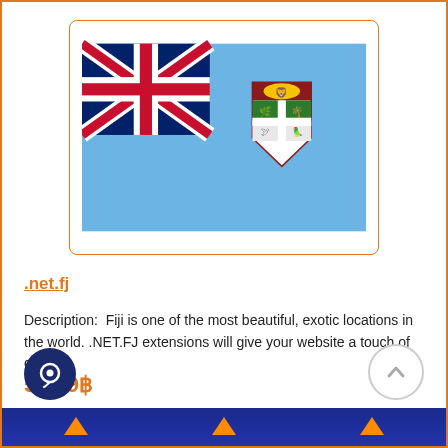[Figure (illustration): Flag of Fiji — light blue background with the Union Jack in the upper left canton and the Fijian coat of arms shield on the right side]
.net.fj
Description:  Fiji is one of the most beautiful, exotic locations in the world. .NET.FJ extensions will give your website a touch of c..
5,749฿